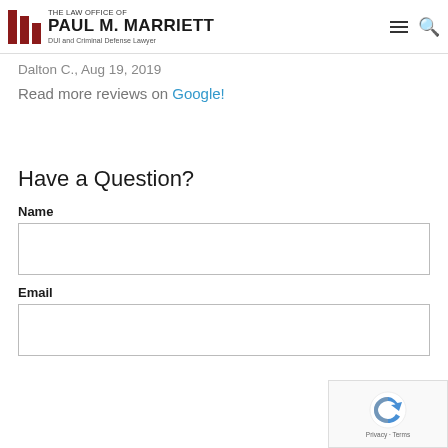The Law Office of Paul M. Marriett — DUI and Criminal Defense Lawyer
Dalton C., Aug 19, 2019
Read more reviews on Google!
Have a Question?
Name
Email